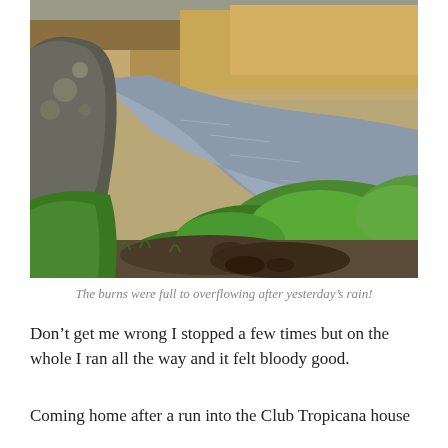[Figure (photo): Outdoor landscape photo showing a stream or burn running between mossy green grass mounds and a large stone on the left. The background shows dry brown moorland grasses. The water is brownish and full, with muddy banks in the foreground.]
The burns were full to overflowing after yesterday's rain!
Don't get me wrong I stopped a few times but on the whole I ran all the way and it felt bloody good.
Coming home after a run into the Club Tropicana house